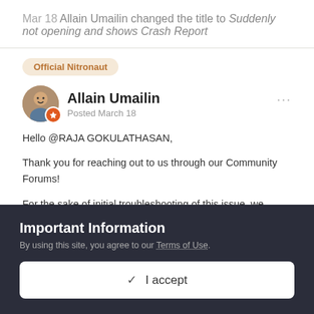Mar 18  Allain Umailin changed the title to Suddenly not opening and shows Crash Report
Official Nitronaut
Allain Umailin
Posted March 18
Hello @RAJA GOKULATHASAN,
Thank you for reaching out to us through our Community Forums!
For the sake of initial troubleshooting of this issue, we recommend that you repair your Nitro Pro. Please reboot your computer before and after
Important Information
By using this site, you agree to our Terms of Use.
✓  I accept